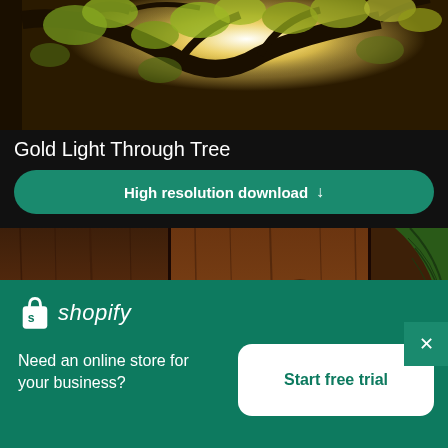[Figure (photo): Golden sunlight shining through tree branches with autumn yellow-green leaves against a bright sky]
Gold Light Through Tree
High resolution download ↓
[Figure (photo): Dark wooden plank table surface with a green tropical leaf visible on the right side]
×
[Figure (logo): Shopify logo — shopping bag icon with 's' and italic shopify text in white]
Need an online store for your business?
Start free trial